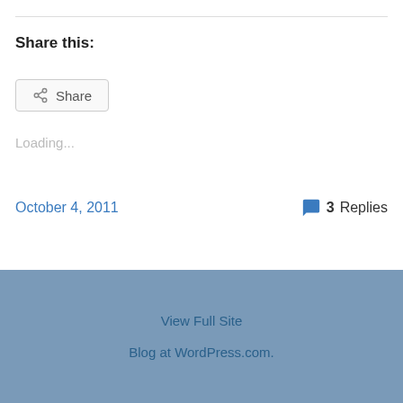Share this:
Share
Loading...
October 4, 2011
3 Replies
View Full Site
Blog at WordPress.com.